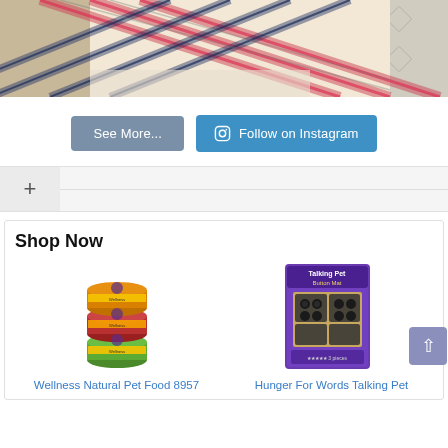[Figure (photo): A dog or pet wearing a plaid red/pink/blue bandana, lying on a patterned rug, partially visible at the top of the page.]
See More...
Follow on Instagram
+
Shop Now
[Figure (photo): Stack of three Wellness Natural Pet Food cans with orange, red, and green labels.]
Wellness Natural Pet Food 8957
[Figure (photo): Hunger For Words Talking Pet Button Mat product in purple packaging.]
Hunger For Words Talking Pet